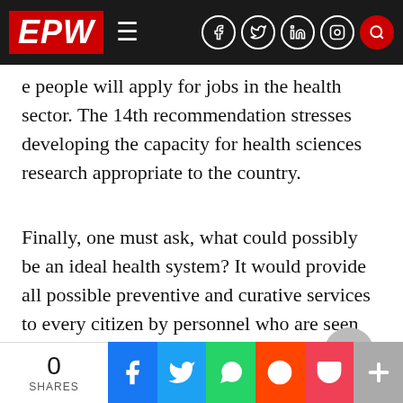EPW
e people will apply for jobs in the health sector. The 14th recommendation stresses developing the capacity for health sciences research appropriate to the country.
Finally, one must ask, what could possibly be an ideal health system? It would provide all possible preventive and curative services to every citizen by personnel who are seen by patients as friendly and helpful. In other words, the care would be comprehensive and caring. To achieve this, we not only need enough
-
0 SHARES | Facebook | Twitter | WhatsApp | Reddit | Pocket | More